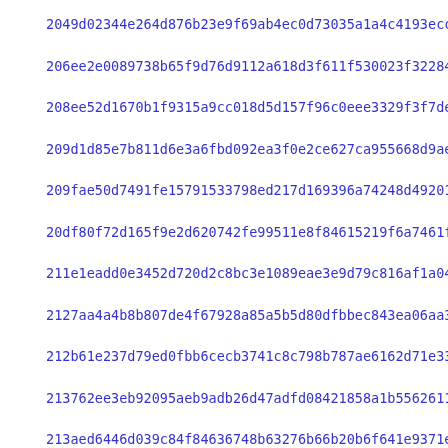2049d02344e264d876b23e9f69ab4ec0d73035a1a4c4193ecce1607ed9e12...
206ee2e0089738b65f9d76d9112a618d3f611f530023f32284579o4ade543...
208ee52d1670b1f9315a9cc018d5d157f96c0eee3329f3f7de6cb9e2afebc...
209d1d85e7b811d6e3a6fbd092ea3f0e2ce627ca955668d9aee9787a7d4c4...
209fae50d7491fe15791533798ed217d169396a74248d492010039d7c1be5...
20df80f72d165f9e2d620742fe99511e8f84615219f6a7461f1d73d48b8cf...
211e1eadd0e3452d720d2c8bc3e1089eae3e9d79c816af1a0487df7097198...
2127aa4a4b8b807de4f67928a85a5b5d80dfbbec843ea06aa3b310c913ced...
212b61e237d79ed0fbb6cecb3741c8c798b787ae6162d71e3386d8b3c1f0f...
213762ee3eb92095aeb9adb26d47adfd08421858a1b5562611b6655608e37...
213aed6446d039c84f84636748b63276b66b20b6f641e9371e95bb06c9e45...